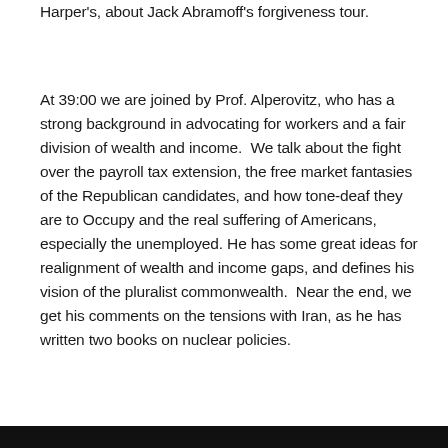Harper's, about Jack Abramoff's forgiveness tour.
At 39:00 we are joined by Prof. Alperovitz, who has a strong background in advocating for workers and a fair division of wealth and income.  We talk about the fight over the payroll tax extension, the free market fantasies of the Republican candidates, and how tone-deaf they are to Occupy and the real suffering of Americans, especially the unemployed. He has some great ideas for realignment of wealth and income gaps, and defines his vision of the pluralist commonwealth.  Near the end, we get his comments on the tensions with Iran, as he has written two books on nuclear policies.